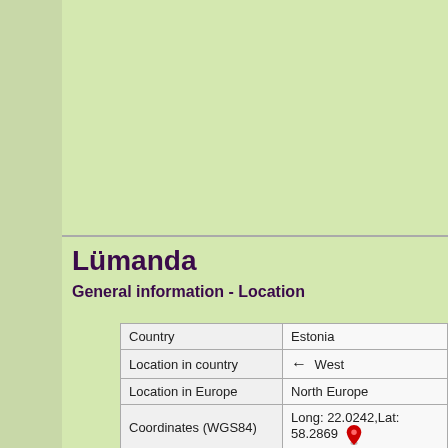[Figure (map): Map area showing green terrain, likely a regional/topographic map of Estonia region]
Lümanda
General information - Location
|  |  |
| --- | --- |
| Country | Estonia |
| Location in country | ← West |
| Location in Europe | North Europe |
| Coordinates (WGS84) | Long: 22.0242,Lat: 58.2869 [pin] |
| Elevation | 18 meter above sea level |
| Local time | 1:57:31am |